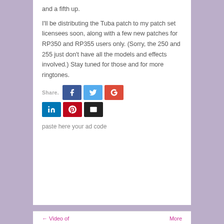and a fifth up.
I'll be distributing the Tuba patch to my patch set licensees soon, along with a few new patches for RP350 and RP355 users only. (Sorry, the 250 and 255 just don't have all the models and effects involved.) Stay tuned for those and for more ringtones.
[Figure (infographic): Social share buttons: Facebook (blue), Twitter (light blue), Google+ (red-orange) on first row with 'Share.' label; LinkedIn (dark blue), Pinterest (red), Email (black) on second row]
paste here your ad code
← Video of    More